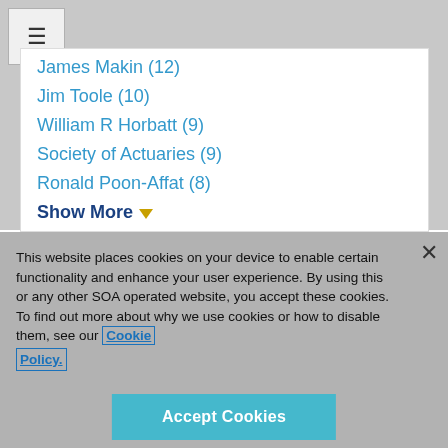[Figure (screenshot): Hamburger menu button in top-left corner]
James Makin (12)
Jim Toole (10)
William R Horbatt (9)
Society of Actuaries (9)
Ronald Poon-Affat (8)
Show More ▾
This website places cookies on your device to enable certain functionality and enhance your user experience. By using this or any other SOA operated website, you accept these cookies. To find out more about why we use cookies or how to disable them, see our Cookie Policy.
Accept Cookies